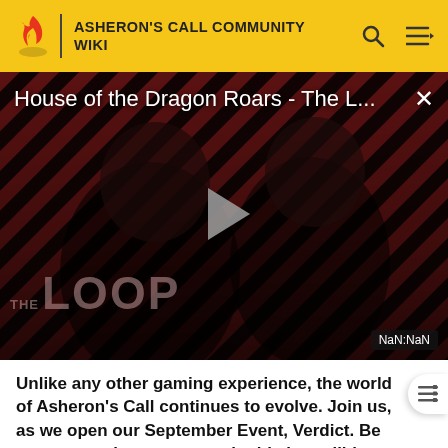ASHERON'S CALL COMMUNITY WIKI
[Figure (screenshot): Video player thumbnail showing 'House of the Dragon Roars - The L...' with a play button, diagonal red and black striped background, silhouetted figures, 'THE LOOP' text overlay, and a NaN:NaN duration badge]
Unlike any other gaming experience, the world of Asheron's Call continues to evolve. Join us, as we open our September Event, Verdict. Be sure to continue your part in this incredible ongoing story, and we'll see you in Dereth!